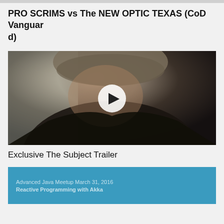PRO SCRIMS vs The NEW OPTIC TEXAS (CoD Vanguard)
[Figure (screenshot): Video thumbnail showing a man in a dark jacket and brown beanie hat looking downward, with a white circular play button overlay in the center.]
Exclusive The Subject Trailer
[Figure (screenshot): Blue card with text: Advanced Java Meetup March 31, 2016 / Reactive Programming with Akka]